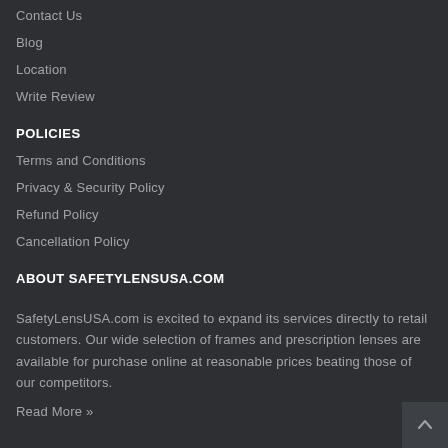Contact Us
Blog
Location
Write Review
POLICIES
Terms and Conditions
Privacy & Security Policy
Refund Policy
Cancellation Policy
ABOUT SAFETYLENSUSA.COM
SafetyLensUSA.com is excited to expand its services directly to retail customers. Our wide selection of frames and prescription lenses are available for purchase online at reasonable prices beating those of our competitors.
Read More »